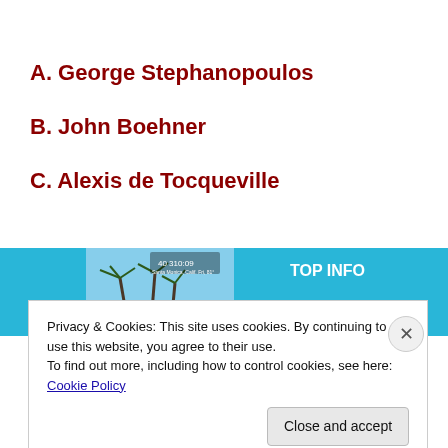A. George Stephanopoulos
B. John Boehner
C. Alexis de Tocqueville
[Figure (screenshot): A partial screenshot of a website showing blue banner/tiles with a photo of palm trees and beach, and text elements. Partially obscured by cookie consent dialog.]
Privacy & Cookies: This site uses cookies. By continuing to use this website, you agree to their use.
To find out more, including how to control cookies, see here: Cookie Policy